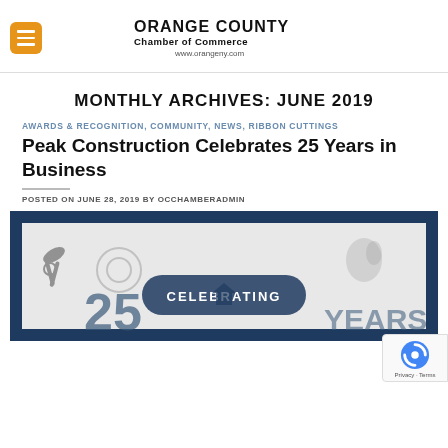[Figure (logo): Orange County Chamber of Commerce logo with crescent shapes in gray and gold, org name in bold, and URL www.orangeny.com]
MONTHLY ARCHIVES: JUNE 2019
AWARDS & RECOGNITION, COMMUNITY, NEWS, RIBBON CUTTINGS
Peak Construction Celebrates 25 Years in Business
POSTED ON JUNE 28, 2019 BY OCCHAMBERADMIN
[Figure (illustration): Promotional image for Peak Construction celebrating 25 years in business, dark navy border, tools and construction imagery, text reading CELEBRATING 25 YEARS]